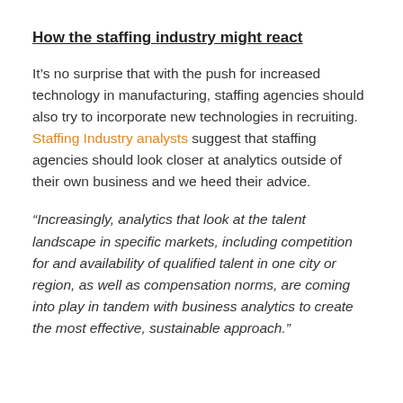How the staffing industry might react
It’s no surprise that with the push for increased technology in manufacturing, staffing agencies should also try to incorporate new technologies in recruiting. Staffing Industry analysts suggest that staffing agencies should look closer at analytics outside of their own business and we heed their advice.
“Increasingly, analytics that look at the talent landscape in specific markets, including competition for and availability of qualified talent in one city or region, as well as compensation norms, are coming into play in tandem with business analytics to create the most effective, sustainable approach.”